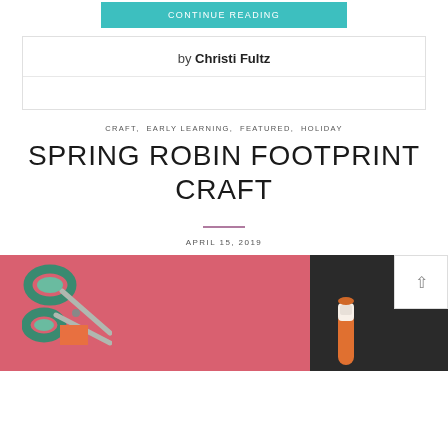CONTINUE READING
by Christi Fultz
CRAFT, EARLY LEARNING, FEATURED, HOLIDAY
SPRING ROBIN FOOTPRINT CRAFT
APRIL 15, 2019
[Figure (photo): Craft supplies on a pink and dark background: green scissors, an orange paper square, and a glue stick]